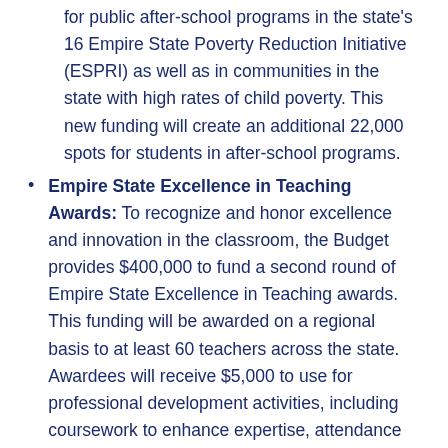for public after-school programs in the state's 16 Empire State Poverty Reduction Initiative (ESPRI) as well as in communities in the state with high rates of child poverty. This new funding will create an additional 22,000 spots for students in after-school programs.
Empire State Excellence in Teaching Awards: To recognize and honor excellence and innovation in the classroom, the Budget provides $400,000 to fund a second round of Empire State Excellence in Teaching awards. This funding will be awarded on a regional basis to at least 60 teachers across the state. Awardees will receive $5,000 to use for professional development activities, including coursework to enhance expertise, attendance at a state or national education conference, or enrollment in a summer institute or certification program.